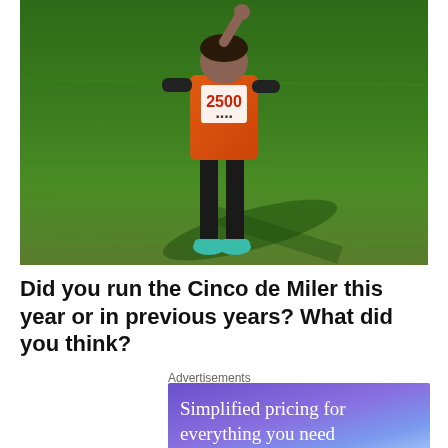[Figure (photo): A runner wearing an orange shirt with bib number 2500 standing on green grass, wearing black leggings and teal/mint shoes, casting a shadow on the grass.]
Did you run the Cinco de Miler this year or in previous years? What did you think?
[Figure (other): Advertisement banner with purple/blue gradient background reading 'Simplified pricing for everything you need']